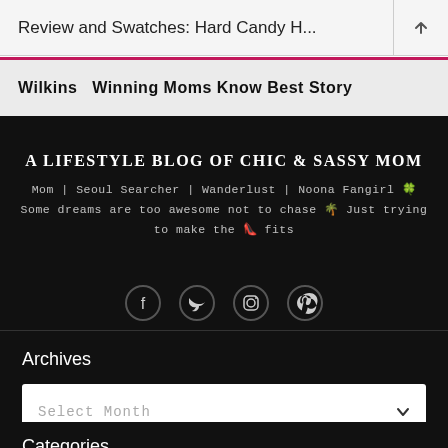Review and Swatches: Hard Candy H...
Wilkins  Winning Moms Know Best Story
A LIFESTYLE BLOG OF CHIC & SASSY MOM
Mom | Seoul Searcher | Wanderlust | Noona Fangirl 🍀 Some dreams are too awesome not to chase 🌴 Just trying to make the 👠 fits
[Figure (other): Social media icons: Facebook, Twitter, Instagram, Pinterest]
Archives
Select Month
Categories